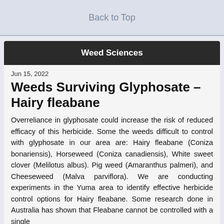Back to Top
Weed Sciences
Jun 15, 2022
Weeds Surviving Glyphosate – Hairy fleabane
Overreliance in glyphosate could increase the risk of reduced efficacy of this herbicide. Some the weeds difficult to control with glyphosate in our area are: Hairy fleabane (Coniza bonariensis), Horseweed (Coniza canadiensis), White sweet clover (Melilotus albus). Pig weed (Amaranthus palmeri), and Cheeseweed (Malva parviflora). We are conducting experiments in the Yuma area to identify effective herbicide control options for Hairy fleabane. Some research done in Australia has shown that Fleabane cannot be controlled with a single